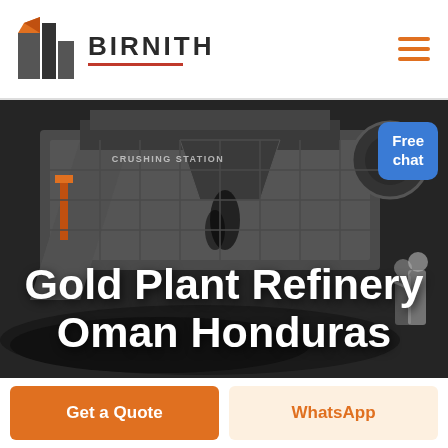BIRNITH
[Figure (photo): Industrial crushing station machinery with coal/ore material on a conveyor, dark industrial setting with heavy equipment. A person figure in white clothing stands to the right side.]
Gold Plant Refinery Oman Honduras
Free chat
Get a Quote
WhatsApp